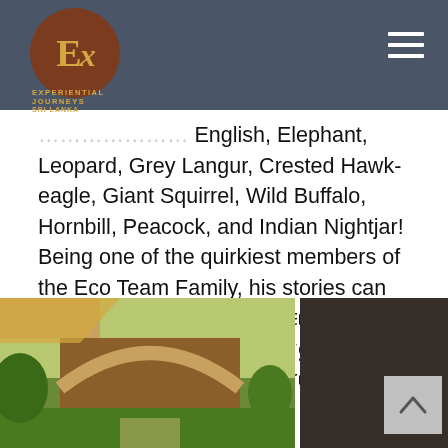Experiential Journeys Sri Lanka
English, Elephant, Leopard, Grey Langur, Crested Hawk-eagle, Giant Squirrel, Wild Buffalo, Hornbill, Peacock, and Indian Nightjar! Being one of the quirkiest members of the Eco Team Family, his stories can range from being casually attacked by a 35 year old elephant, to why papadams (fried lentil discs) are the greatest things on earth.
[Figure (photo): Outdoor scene with an arched structure and tropical vegetation, split into two panels]